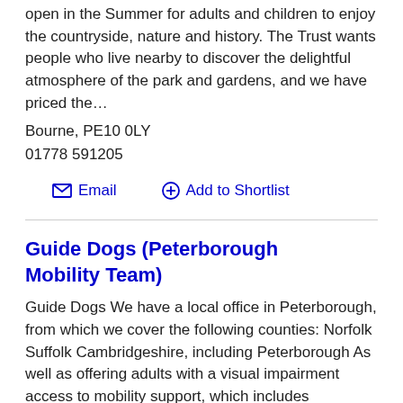open in the Summer for adults and children to enjoy the countryside, nature and history. The Trust wants people who live nearby to discover the delightful atmosphere of the park and gardens, and we have priced the…
Bourne, PE10 0LY
01778 591205
Email   Add to Shortlist
Guide Dogs (Peterborough Mobility Team)
Guide Dogs We have a local office in Peterborough, from which we cover the following counties: Norfolk Suffolk Cambridgeshire, including Peterborough As well as offering adults with a visual impairment access to mobility support, which includes